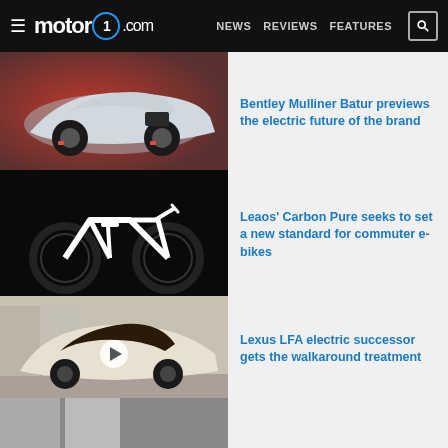motor1.com — NEWS REVIEWS FEATURES
[Figure (photo): Bentley Mulliner Batur concept car in silver on a red-toned background]
Bentley Mulliner Batur previews the electric future of the brand
[Figure (photo): Leaos Carbon Pure white e-bike on dark background]
Leaos' Carbon Pure seeks to set a new standard for commuter e-bikes
[Figure (photo): Lexus LFA electric successor concept car in cream and dark brown]
Lexus LFA electric successor gets the walkaround treatment
[Figure (photo): Partial view of fourth article image]